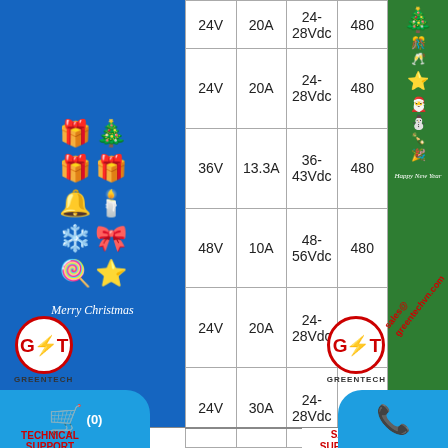[Figure (illustration): Left Christmas/New Year decorative banner with blue background, colorful stickers (gifts, bells, candles, snowflakes, candy canes), Merry Christmas text]
| Voltage | Current | Voltage Range | Power |
| --- | --- | --- | --- |
| 24V | 20A | 24-28Vdc | 480... |
| 24V | 20A | 24-28Vdc | 480... |
| 36V | 13.3A | 36-43Vdc | 480... |
| 48V | 10A | 48-56Vdc | 480... |
| 24V | 20A | 24-28Vdc | 480... |
| 24V | 30A | 24-28Vdc | 720... |
[Figure (illustration): Right Christmas/New Year decorative banner with green background, Christmas tree, ornaments, snowman, Happy New Year text]
TECHNICAL SUPPORT
MR. NHÂN
0935 041313
[Figure (logo): GRT Greentech logo on left side]
SALE SUPPORT
[Figure (logo): GRT Greentech logo on right side]
sales@greentechvn.com (diagonal watermark)